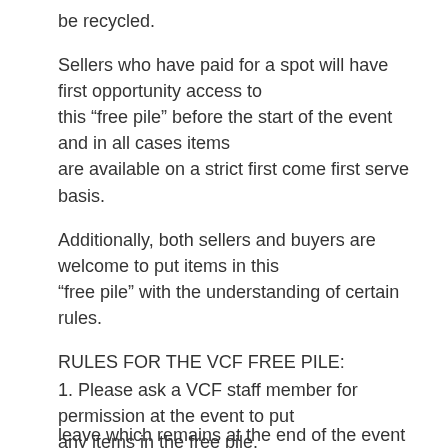be recycled.
Sellers who have paid for a spot will have first opportunity access to this “free pile” before the start of the event and in all cases items are available on a strict first come first serve basis.
Additionally, both sellers and buyers are welcome to put items in this “free pile” with the understanding of certain rules.
RULES FOR THE VCF FREE PILE:
1. Please ask a VCF staff member for permission at the event to put any items in the free pile.
2. Please understand the policy for the free pile is that anything you
leave which remains at the end of the event must be